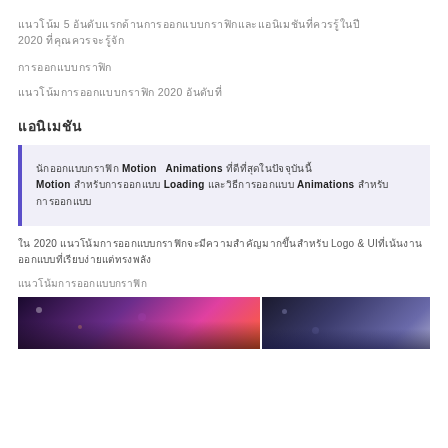แนวโน้ม 5 อันดับแรกด้านการออกแบบกราฟิกและแอนิเมชันที่ควรรู้ในปี 2020 ที่คุณควรจะรู้จัก
การออกแบบกราฟิก
แนวโน้มการออกแบบกราฟิก 2020 อันดับที่
แอนิเมชัน
นักออกแบบกราฟิก Motion &  Animations ที่ดีที่สุดในปัจจุบันนี้ Motion สำหรับการออกแบบ Loading และวิธีการออกแบบ Animations สำหรับการออกแบบ
ใน 2020 แนวโน้มการออกแบบกราฟิกจะมีความสำคัญมากขึ้นสำหรับ Logo & UI ที่เน้นงานออกแบบที่เรียบง่ายแต่ทรงพลัง
แนวโน้มการออกแบบกราฟิก
[Figure (photo): Two photos side by side: left photo shows colorful purple/pink/orange graphic design artwork; right photo shows a dark blue/purple artistic figure.]